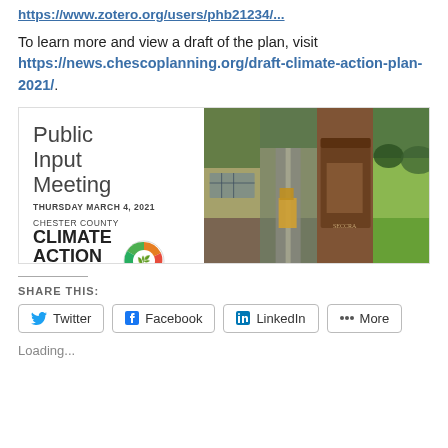https://www.zotero.org/users/phb21234/...
To learn more and view a draft of the plan, visit https://news.chescoplanning.org/draft-climate-action-plan-2021/.
[Figure (infographic): Public Input Meeting flyer card showing text 'Public Input Meeting THURSDAY MARCH 4, 2021 CHESTER COUNTY CLIMATE ACTION PLAN' with a circular multicolor logo, alongside four photo strips of solar panels/parking, road with trucks, recycling bins, and green fields.]
SHARE THIS:
Twitter
Facebook
LinkedIn
More
Loading...